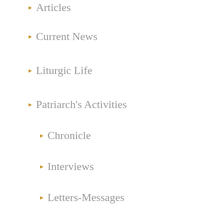Articles
Current News
Liturgic Life
Patriarch's Activities
Chronicle
Interviews
Letters-Messages
Speeches
Projects
Synodical Decisions
Various Speeches
Website Announcements